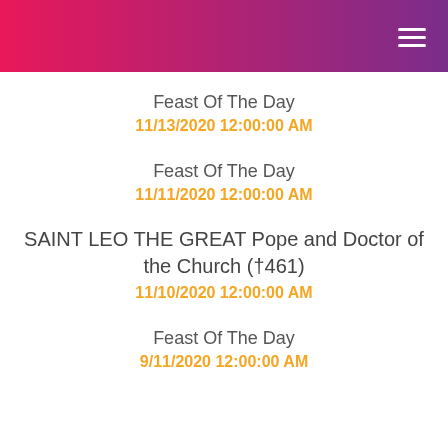[Figure (other): Website header banner with gradient from pink/red on left to purple on right, with white hamburger menu icon in top-right corner]
Feast Of The Day
11/13/2020 12:00:00 AM
Feast Of The Day
11/11/2020 12:00:00 AM
SAINT LEO THE GREAT Pope and Doctor of the Church (†461)
11/10/2020 12:00:00 AM
Feast Of The Day
9/11/2020 12:00:00 AM